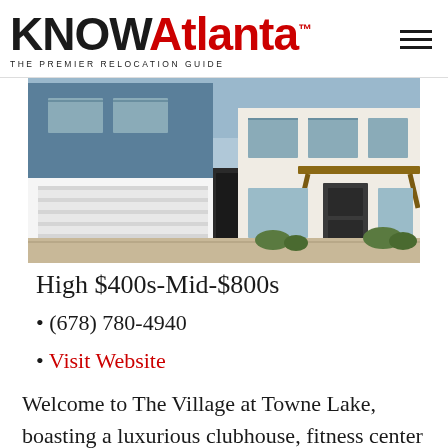KNOWAtlanta™ THE PREMIER RELOCATION GUIDE
[Figure (photo): Exterior photo of The Village at Towne Lake residential community showing modern townhomes with white garage doors, dark siding, and wood-accented entryways]
High $400s-Mid-$800s
(678) 780-4940
Visit Website
Welcome to The Village at Towne Lake, boasting a luxurious clubhouse, fitness center and swimming pool. The community's home plans highlight